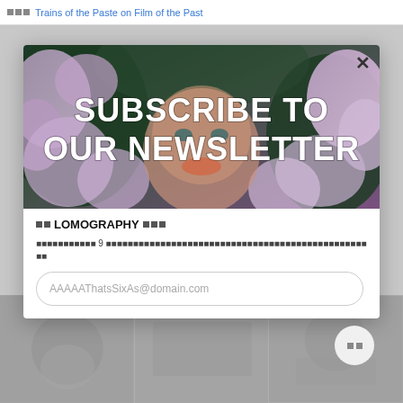Trains of the Paste on Film of the Past
[Figure (photo): Newsletter subscription modal over a webpage. The modal shows a photo of a person's face partially hidden by purple/lilac flowers with bold white text 'SUBSCRIBE TO OUR NEWSLETTER' overlaid. Below the image: 'LOMOGRAPHY' title with small squares, a description text in placeholder characters, and an email input field reading 'AAAAAThatsSixAs@domain.com'. A close (X) button is at the top right of the modal. Background shows blurred page content with three image thumbnails at the bottom.]